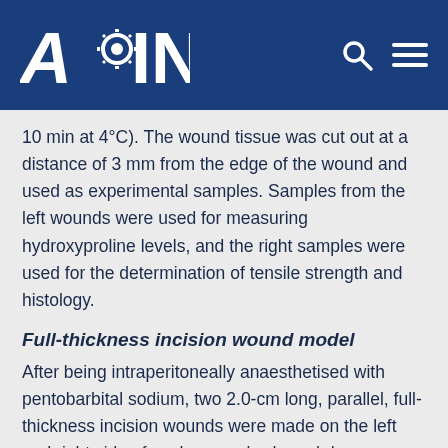AGING
10 min at 4°C). The wound tissue was cut out at a distance of 3 mm from the edge of the wound and used as experimental samples. Samples from the left wounds were used for measuring hydroxyproline levels, and the right samples were used for the determination of tensile strength and histology.
Full-thickness incision wound model
After being intraperitoneally anaesthetised with pentobarbital sodium, two 2.0-cm long, parallel, full-thickness incision wounds were made on the left and right side of each mouse's shaved dorsum under aseptic conditions. Whereafter, both incisions were stitched tightly and neatly using a No. 9 curved needle and No. 000 surgical thread at 0.5 cm intervals. The wounding day was considered as day zero. Six mice in each dose group were randomly selected for the